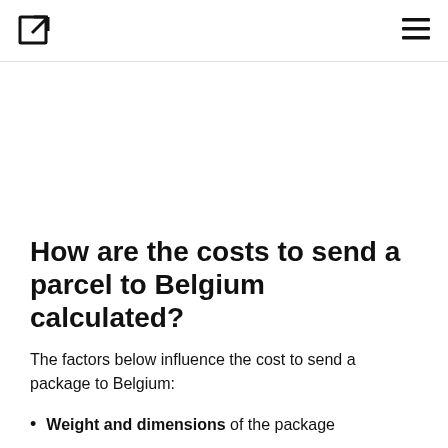[logo icon] [hamburger menu]
How are the costs to send a parcel to Belgium calculated?
The factors below influence the cost to send a package to Belgium:
Weight and dimensions of the package